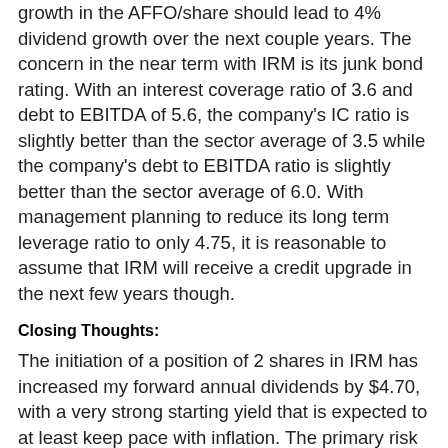growth in the AFFO/share should lead to 4% dividend growth over the next couple years. The concern in the near term with IRM is its junk bond rating. With an interest coverage ratio of 3.6 and debt to EBITDA of 5.6, the company's IC ratio is slightly better than the sector average of 3.5 while the company's debt to EBITDA ratio is slightly better than the sector average of 6.0. With management planning to reduce its long term leverage ratio to only 4.75, it is reasonable to assume that IRM will receive a credit upgrade in the next few years though.
Closing Thoughts:
The initiation of a position of 2 shares in IRM has increased my forward annual dividends by $4.70, with a very strong starting yield that is expected to at least keep pace with inflation. The primary risk of buying IRM currently lies in the concerns that investors have over long-term interest rates spiking higher. Rather than delve into this into further detail, I'll leave the link to Dividend Sensei's recent article on IRM as he does a fantastic job of providing an in-depth analysis of IRM that served as part of my motivation to initiate this